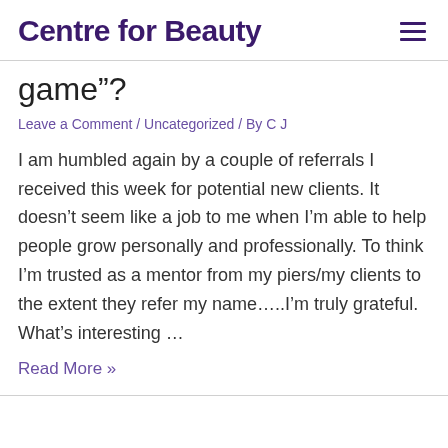Centre for Beauty
game”?
Leave a Comment / Uncategorized / By C J
I am humbled again by a couple of referrals I received this week for potential new clients. It doesn’t seem like a job to me when I’m able to help people grow personally and professionally. To think I’m trusted as a mentor from my piers/my clients to the extent they refer my name…..I’m truly grateful. What’s interesting …
Read More »